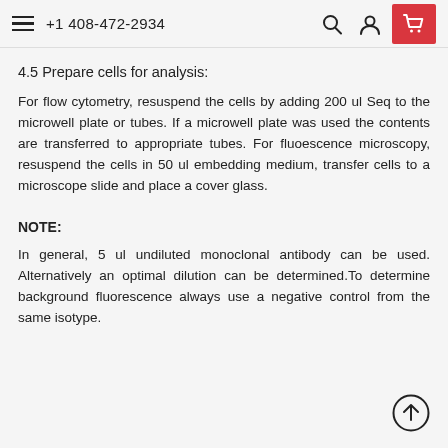+1 408-472-2934
4.5 Prepare cells for analysis:
For flow cytometry, resuspend the cells by adding 200 ul Seq to the microwell plate or tubes. If a microwell plate was used the contents are transferred to appropriate tubes. For fluoescence microscopy, resuspend the cells in 50 ul embedding medium, transfer cells to a microscope slide and place a cover glass.
NOTE:
In general, 5 ul undiluted monoclonal antibody can be used. Alternatively an optimal dilution can be determined.To determine background fluorescence always use a negative control from the same isotype.